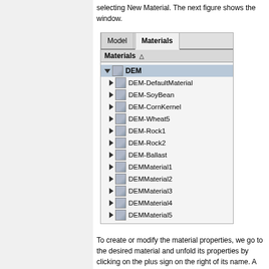selecting New Material. The next figure shows the window.
[Figure (screenshot): Materials panel screenshot showing a tree view with DEM as root node and child items: DEM-DefaultMaterial, DEM-SoyBean, DEM-CornKernel, DEM-Wheat5, DEM-Rock1, DEM-Rock2, DEM-Ballast, DEMMaterial1, DEMMaterial2, DEMMaterial3, DEMMaterial4, DEMMaterial5. Tabs at top: Model, Materials (active). Toolbar shows 'Materials' label.]
To create or modify the material properties, we go to the desired material and unfold its properties by clicking on the plus sign on the right of its name. A list of parameters to fill in